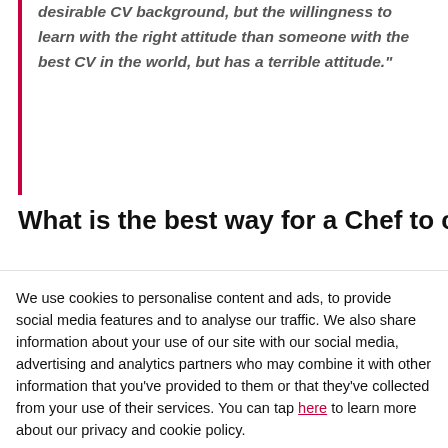desirable CV background, but the willingness to learn with the right attitude than someone with the best CV in the world, but has a terrible attitude."
What is the best way for a Chef to climb
We use cookies to personalise content and ads, to provide social media features and to analyse our traffic. We also share information about your use of our site with our social media, advertising and analytics partners who may combine it with other information that you've provided to them or that they've collected from your use of their services. You can tap here to learn more about our privacy and cookie policy.
Accept